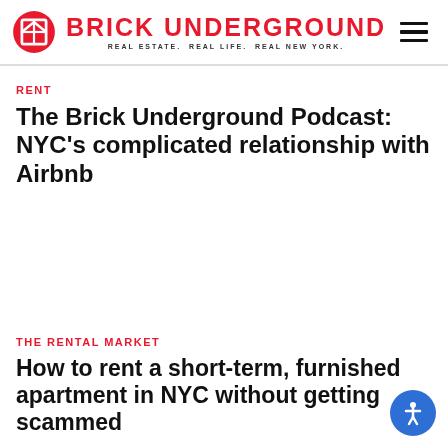BRICK UNDERGROUND — REAL ESTATE. REAL LIFE. REAL NEW YORK.
RENT
The Brick Underground Podcast: NYC's complicated relationship with Airbnb
THE RENTAL MARKET
How to rent a short-term, furnished apartment in NYC without getting scammed